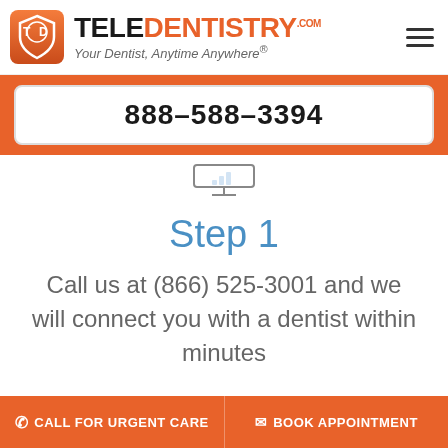[Figure (logo): TeleDentistry logo with orange shield icon, brand name TELEDENTISTRY.com, tagline 'Your Dentist, Anytime Anywhere®']
888–588–3394
[Figure (illustration): Computer monitor icon on orange background]
Step 1
Call us at (866) 525-3001 and we will connect you with a dentist within minutes
CALL FOR URGENT CARE
BOOK APPOINTMENT